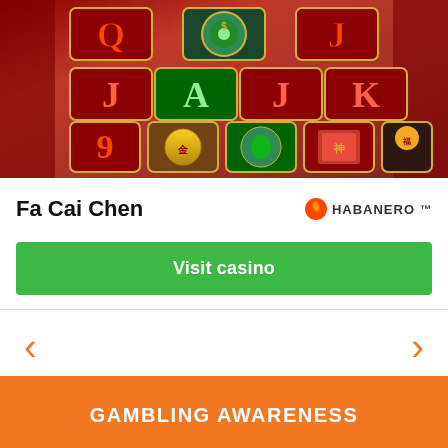[Figure (screenshot): Screenshot of a slot machine game called Fa Cai Chen by Habanero, showing colorful reels with Chinese-themed symbols including characters Q, R, J, A, J, K, and 9, with green jade circles, golden coins, a red book, and a Chinese deity figure on a red ornate background.]
Fa Cai Chen
[Figure (logo): Habanero logo with orange flame icon and HABANERO text]
Visit casino
< (left arrow navigation)
> (right arrow navigation)
GAMBLING AWARENESS
We are committed to responsible gambling. Please keep